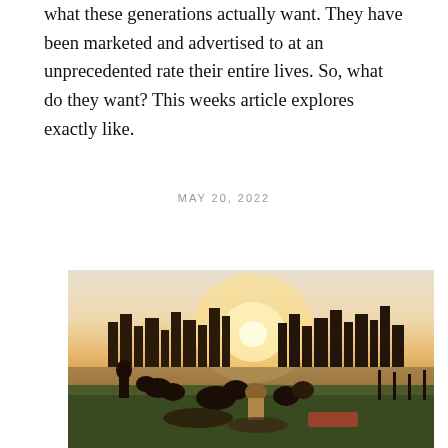what these generations actually want. They have been marketed and advertised to at an unprecedented rate their entire lives. So, what do they want? This weeks article explores exactly like.
MAY 20, 2022
[Figure (photo): A group of young people sitting on grass in a park, silhouetted against a bright sunset, with a city skyline (resembling Manhattan) visible across the water in the background.]